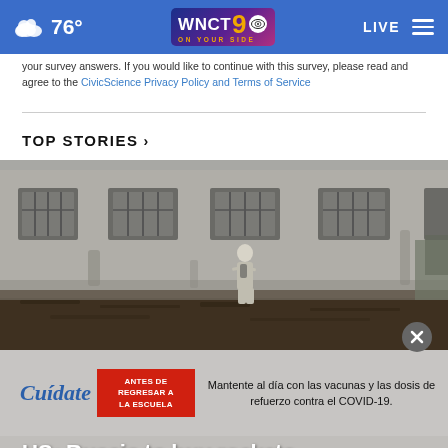76° WNCT 9 ON YOUR SIDE LIVE
your survey answers. If you would like to continue with this survey, please read and agree to the CivicScience Privacy Policy and Terms of Service
TOP STORIES ›
[Figure (photo): A person in light clothing walking along a muddy ground in front of a large gray concrete building with barred windows]
[Figure (infographic): Ad overlay: Cuídate brand, ANTES DE REGRESAR A LA ESCUELA badge, text 'Mantente al día con las vacunas y las dosis de refuerzo contra el COVID-19.']
US: Russia to buy rockets,